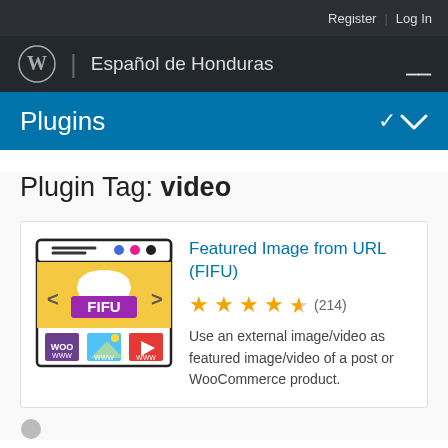Register   Log In
Español de Honduras
Plugins
Plugin Tag: video
[Figure (logo): FIFU plugin logo showing a browser window with cloud/slider graphic and three product thumbnails (WooCommerce, image, video)]
Featured Image from URL (FIFU)
4.5 stars (214)
Use an external image/video as featured image/video of a post or WooCommerce product.